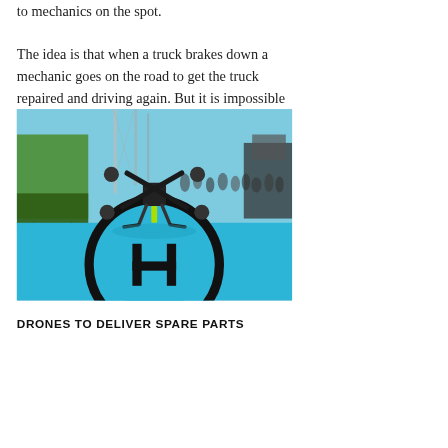to mechanics on the spot.
The idea is that when a truck brakes down a mechanic goes on the road to get the truck repaired and driving again. But it is impossible for a mechanic to have all the spare parts in the service van. So if he calls the service center a drone should be used to deliver the desired spare part to fix the truck.
[Figure (photo): A drone (quadcopter) on a blue landing pad with a circular target marker, at what appears to be an outdoor exhibition or trade show. Green trucks and crowd visible in background.]
DRONES TO DELIVER SPARE PARTS